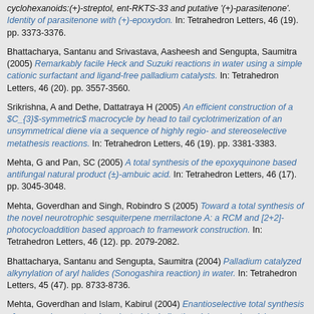cyclohexanoids:(+)-streptol, ent-RKTS-33 and putative '(+)-parasitenone'. Identity of parasitenone with (+)-epoxydon. In: Tetrahedron Letters, 46 (19). pp. 3373-3376.
Bhattacharya, Santanu and Srivastava, Aasheesh and Sengupta, Saumitra (2005) Remarkably facile Heck and Suzuki reactions in water using a simple cationic surfactant and ligand-free palladium catalysts. In: Tetrahedron Letters, 46 (20). pp. 3557-3560.
Srikrishna, A and Dethe, Dattatraya H (2005) An efficient construction of a $C_{3}$-symmetric$ macrocycle by head to tail cyclotrimerization of an unsymmetrical diene via a sequence of highly regio- and stereoselective metathesis reactions. In: Tetrahedron Letters, 46 (19). pp. 3381-3383.
Mehta, G and Pan, SC (2005) A total synthesis of the epoxyquinone based antifungal natural product (±)-ambuic acid. In: Tetrahedron Letters, 46 (17). pp. 3045-3048.
Mehta, Goverdhan and Singh, Robindro S (2005) Toward a total synthesis of the novel neurotrophic sesquiterpene merrilactone A: a RCM and [2+2]-photocycloaddition based approach to framework construction. In: Tetrahedron Letters, 46 (12). pp. 2079-2082.
Bhattacharya, Santanu and Sengupta, Saumitra (2004) Palladium catalyzed alkynylation of aryl halides (Sonogashira reaction) in water. In: Tetrahedron Letters, 45 (47). pp. 8733-8736.
Mehta, Goverdhan and Islam, Kabirul (2004) Enantioselective total synthesis of epoxyquinone natural products (−)-phyllostine, (+)-epoxydon, (+)-epiepoxydon and (−)-panepophenanthrin: access to versatile chiral building blocks through enzymatic kinetic resolution. In: Tetrahedron Letters, 45 (41).